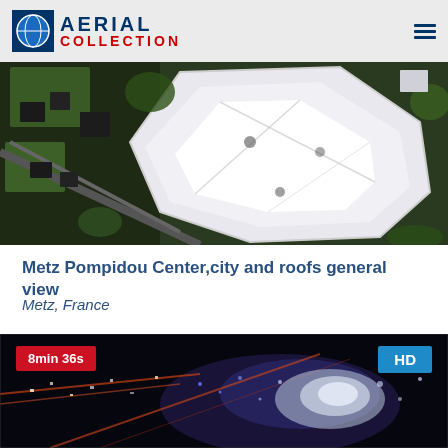AERIAL COLLECTION
[Figure (photo): Aerial top-down view of Metz Pompidou Center with white polygonal roof structure surrounded by green areas and city streets]
Metz Pompidou Center,city and roofs general view
Metz, France
[Figure (photo): Aerial night view of Metz city with lights, showing urban streets and the illuminated Pompidou Center area. Badge: 8min 36s, HD]